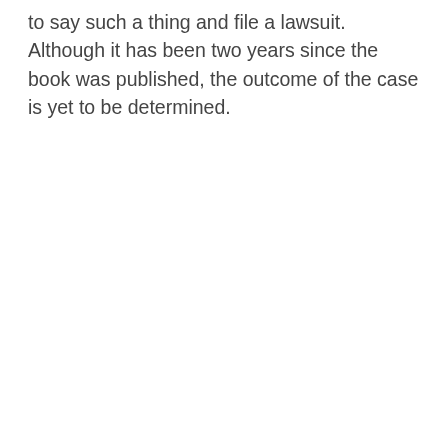to say such a thing and file a lawsuit. Although it has been two years since the book was published, the outcome of the case is yet to be determined.